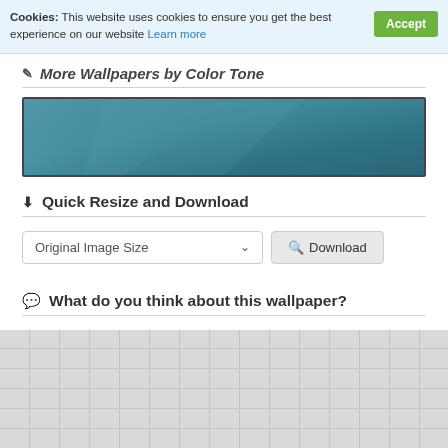Cookies: This website uses cookies to ensure you get the best experience on our website Learn more Accept
More Wallpapers by Color Tone
[Figure (illustration): Teal/blue-toned wallpaper preview image — rectangular banner with a gradient teal and darker blue texture]
Quick Resize and Download
Original Image Size ∨ Download
What do you think about this wallpaper?